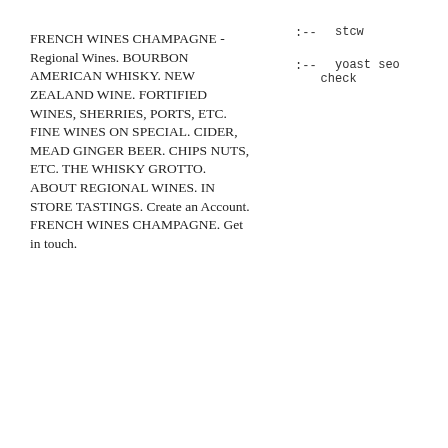FRENCH WINES CHAMPAGNE - Regional Wines. BOURBON AMERICAN WHISKY. NEW ZEALAND WINE. FORTIFIED WINES, SHERRIES, PORTS, ETC. FINE WINES ON SPECIAL. CIDER, MEAD GINGER BEER. CHIPS NUTS, ETC. THE WHISKY GROTTO. ABOUT REGIONAL WINES. IN STORE TASTINGS. Create an Account. FRENCH WINES CHAMPAGNE. Get in touch.
:--  stcw
:--  yoast seo check